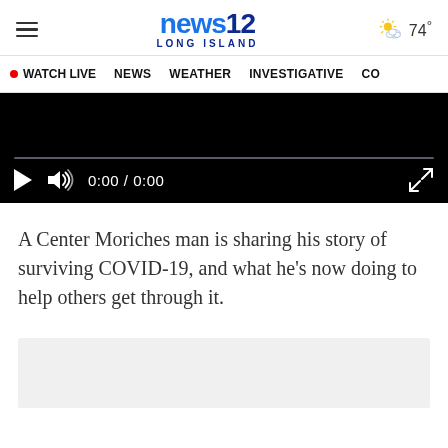news12 LONG ISLAND — 74°
[Figure (screenshot): Navigation bar with WATCH LIVE, NEWS, WEATHER, INVESTIGATIVE menu items]
[Figure (screenshot): Video player with black background, progress bar, play button, volume icon, time 0:00 / 0:00, and fullscreen button]
A Center Moriches man is sharing his story of surviving COVID-19, and what he's now doing to help others get through it.
[Figure (other): Gray advertisement placeholder rectangle]